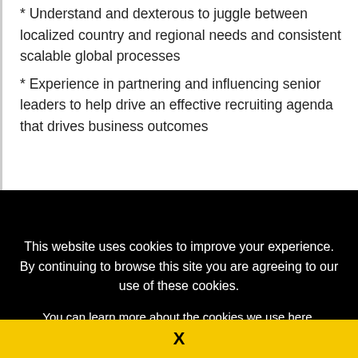* Understand and dexterous to juggle between localized country and regional needs and consistent scalable global processes
* Experience in partnering and influencing senior leaders to help drive an effective recruiting agenda that drives business outcomes
This website uses cookies to improve your experience. By continuing to browse this site you are agreeing to our use of these cookies.
You can learn more about the cookies we use here.
X